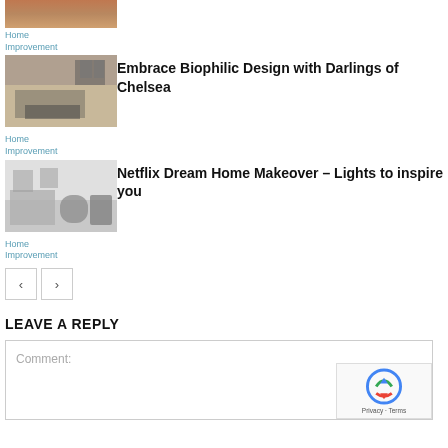[Figure (photo): Partial house painting photo at top]
Home Improvement
[Figure (photo): Living room with sofa and coffee table]
Embrace Biophilic Design with Darlings of Chelsea
Home Improvement
[Figure (photo): Minimalist living room with chairs]
Netflix Dream Home Makeover – Lights to inspire you
Home Improvement
LEAVE A REPLY
Comment: